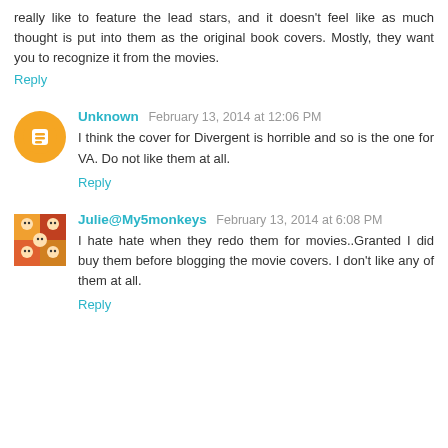really like to feature the lead stars, and it doesn't feel like as much thought is put into them as the original book covers. Mostly, they want you to recognize it from the movies.
Reply
Unknown  February 13, 2014 at 12:06 PM
I think the cover for Divergent is horrible and so is the one for VA. Do not like them at all.
Reply
Julie@My5monkeys  February 13, 2014 at 6:08 PM
I hate hate when they redo them for movies..Granted I did buy them before blogging the movie covers. I don't like any of them at all.
Reply